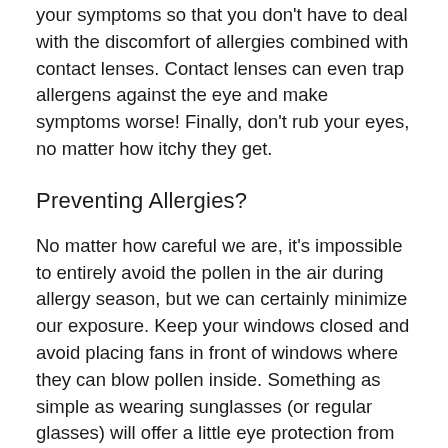your symptoms so that you don't have to deal with the discomfort of allergies combined with contact lenses. Contact lenses can even trap allergens against the eye and make symptoms worse! Finally, don't rub your eyes, no matter how itchy they get.
Preventing Allergies?
No matter how careful we are, it's impossible to entirely avoid the pollen in the air during allergy season, but we can certainly minimize our exposure. Keep your windows closed and avoid placing fans in front of windows where they can blow pollen inside. Something as simple as wearing sunglasses (or regular glasses) will offer a little eye protection from pollen. Try to stay inside on windy days, and if you have to do yard work during allergy season, a pollen mask can really help.